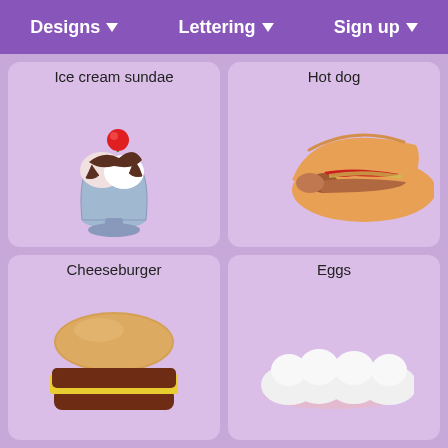Designs | Lettering | Sign up
Ice cream sundae
[Figure (illustration): Illustrated ice cream sundae in a blue glass cup with chocolate sauce, whipped cream, and a red cherry on top]
Hot dog
[Figure (illustration): Illustrated hot dog in a bun with ketchup/mustard stripe]
Cheeseburger
[Figure (illustration): Illustrated cheeseburger showing a bun top, yellow cheese, and dark bottom bun]
Eggs
[Figure (illustration): Illustrated fried eggs with white egg whites on a plate]